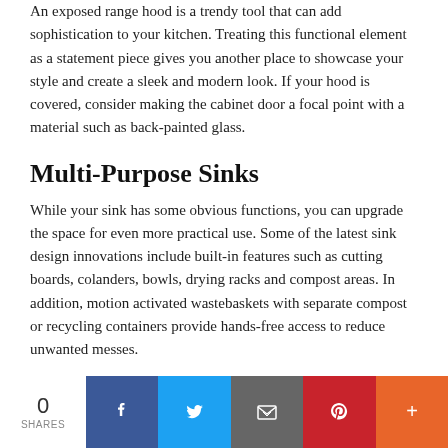An exposed range hood is a trendy tool that can add sophistication to your kitchen. Treating this functional element as a statement piece gives you another place to showcase your style and create a sleek and modern look. If your hood is covered, consider making the cabinet door a focal point with a material such as back-painted glass.
Multi-Purpose Sinks
While your sink has some obvious functions, you can upgrade the space for even more practical use. Some of the latest sink design innovations include built-in features such as cutting boards, colanders, bowls, drying racks and compost areas. In addition, motion activated wastebaskets with separate compost or recycling containers provide hands-free access to reduce unwanted messes.
0 SHARES | Facebook | Twitter | Email | Pinterest | More